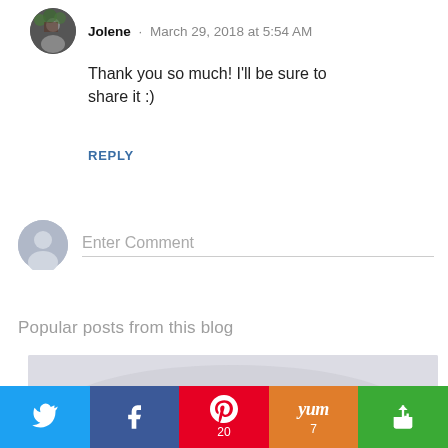Jolene · March 29, 2018 at 5:54 AM
Thank you so much! I'll be sure to share it :)
REPLY
Enter Comment
Popular posts from this blog
[Figure (photo): Partial food photo visible at bottom, blog post thumbnail]
[Figure (infographic): Social share bar with Twitter, Facebook (f), Pinterest (P 20), Yummly (yum 7), and a share icon on green]